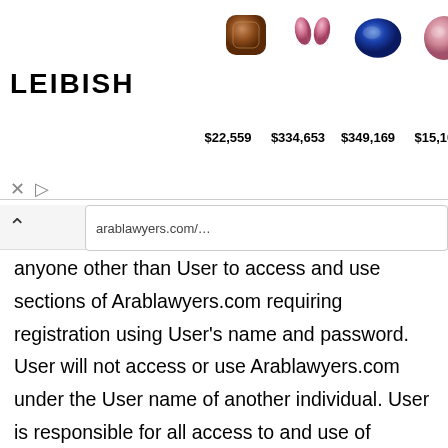[Figure (screenshot): Advertisement banner for Leibish gemstones showing 5 gem images (brown cushion, pink pear, blue oval, pink round, blue oval) with prices $22,559, $334,653, $349,169, $15,100, $71,403 and the LEIBISH logo]
anyone other than User to access and use sections of Arablawyers.com requiring registration using User's name and password. User will not access or use Arablawyers.com under the User name of another individual. User is responsible for all access to and use of Arablawyers.com through User's name and password, including access of any services the use of which results in monetary charges to User, whether or not User has knowledge of or authorizes such access and use. User will notify Heritage Web LLC immediately of any unauthorized use of User's name and password, if User